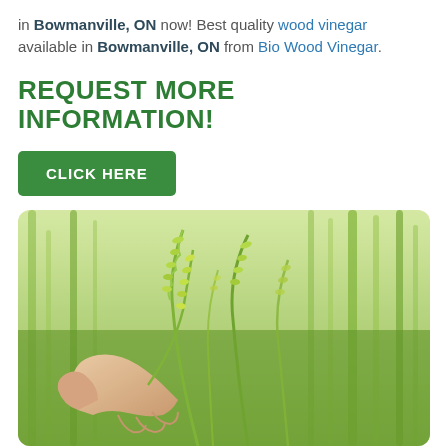in Bowmanville, ON now! Best quality wood vinegar available in Bowmanville, ON from Bio Wood Vinegar.
REQUEST MORE INFORMATION!
CLICK HERE
[Figure (photo): A hand holding green rice or grain stalks in a grassy field, with bokeh background of tall green grasses and rice plants.]